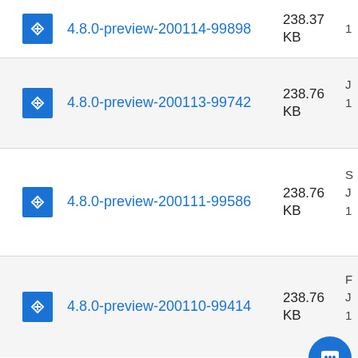4.8.0-preview-200114-99898  238.37 KB
4.8.0-preview-200113-99742  238.76 KB
4.8.0-preview-200111-99586  238.76 KB
4.8.0-preview-200110-99414  238.76 KB